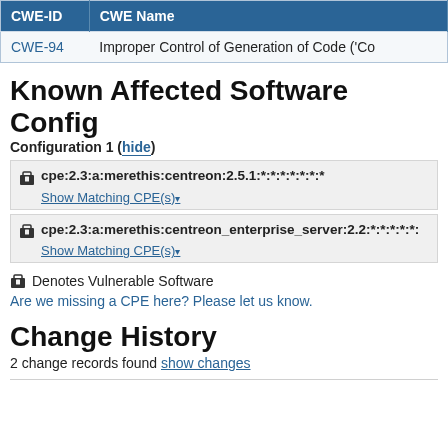| CWE-ID | CWE Name |
| --- | --- |
| CWE-94 | Improper Control of Generation of Code ('Co... |
Known Affected Software Config
Configuration 1 ( hide )
cpe:2.3:a:merethis:centreon:2.5.1:*:*:*:*:*:*:*
Show Matching CPE(s)▾
cpe:2.3:a:merethis:centreon_enterprise_server:2.2:*:*:*:*:*
Show Matching CPE(s)▾
Denotes Vulnerable Software
Are we missing a CPE here? Please let us know.
Change History
2 change records found show changes